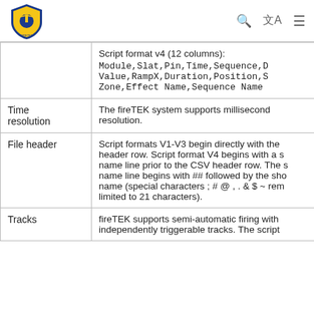fireTEK logo and navigation icons
| Property | Description |
| --- | --- |
|  | Script format v4 (12 columns):
Module,Slat,Pin,Time,Sequence,D
Value,RampX,Duration,Position,S
Zone,Effect Name,Sequence Name |
| Time resolution | The fireTEK system supports millisecond resolution. |
| File header | Script formats V1-V3 begin directly with the header row. Script format V4 begins with a s name line prior to the CSV header row. The s name line begins with ## followed by the sho name (special characters ; # @ , . & $ ~ rem limited to 21 characters). |
| Tracks | fireTEK supports semi-automatic firing with independently triggerable tracks. The script |